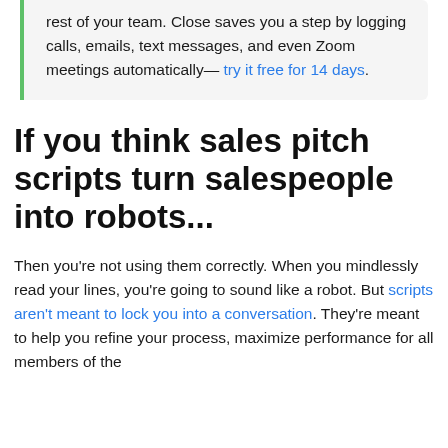rest of your team. Close saves you a step by logging calls, emails, text messages, and even Zoom meetings automatically— try it free for 14 days.
If you think sales pitch scripts turn salespeople into robots...
Then you're not using them correctly. When you mindlessly read your lines, you're going to sound like a robot. But scripts aren't meant to lock you into a conversation. They're meant to help you refine your process, maximize performance for all members of the